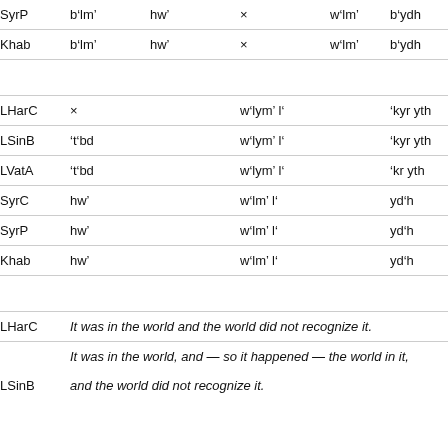| SyrP | b'lm' | hw' | × | w'lm' | b'ydh |
| Khab | b'lm' | hw' | × | w'lm' | b'ydh |
|  |  |  |  |  |  |
| LHarC | × | w'lym' l' |  | 'kyr yth |  |
| LSinB | 't'bd | w'lym' l' |  | 'kyr yth |  |
| LVatA | 't'bd | w'lym' l' |  | 'kr yth |  |
| SyrC | hw' | w'lm' l' |  | yd'h |  |
| SyrP | hw' | w'lm' l' |  | yd'h |  |
| Khab | hw' | w'lm' l' |  | yd'h |  |
|  |  |  |  |  |  |
| LHarC | It was in the world and the world did not recognize it. |  |  |  |  |
|  | It was in the world, and — so it happened — the world in it, |  |  |  |  |
| LSinB | and the world did not recognize it. |  |  |  |  |